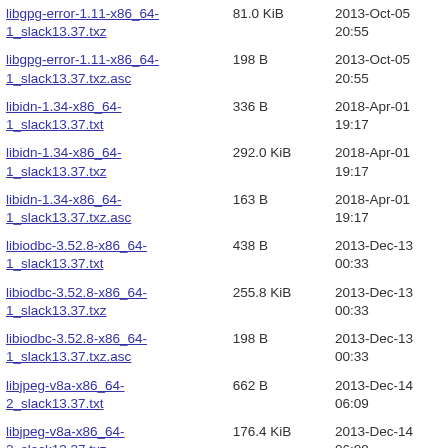| Name | Size | Date |
| --- | --- | --- |
| libgpg-error-1.11-x86_64-1_slack13.37.txz | 81.0 KiB | 2013-Oct-05 20:55 |
| libgpg-error-1.11-x86_64-1_slack13.37.txz.asc | 198 B | 2013-Oct-05 20:55 |
| libidn-1.34-x86_64-1_slack13.37.txt | 336 B | 2018-Apr-01 19:17 |
| libidn-1.34-x86_64-1_slack13.37.txz | 292.0 KiB | 2018-Apr-01 19:17 |
| libidn-1.34-x86_64-1_slack13.37.txz.asc | 163 B | 2018-Apr-01 19:17 |
| libiodbc-3.52.8-x86_64-1_slack13.37.txt | 438 B | 2013-Dec-13 00:33 |
| libiodbc-3.52.8-x86_64-1_slack13.37.txz | 255.8 KiB | 2013-Dec-13 00:33 |
| libiodbc-3.52.8-x86_64-1_slack13.37.txz.asc | 198 B | 2013-Dec-13 00:33 |
| libjpeg-v8a-x86_64-2_slack13.37.txt | 662 B | 2013-Dec-14 06:09 |
| libjpeg-v8a-x86_64-2_slack13.37.txz | 176.4 KiB | 2013-Dec-14 06:09 |
| libjpeg-v8a-x86_64-2_slack13.37.txz.asc | 198 B | 2013-Dec-14 06:09 |